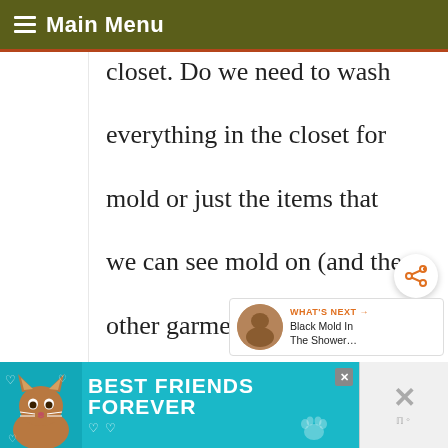Main Menu
closet. Do we need to wash everything in the closet for mold or just the items that we can see mold on (and the other garments touching those moldy garments)? Do we need to worry about things outside the closet too
[Figure (other): Share button (circular white button with share/network icon)]
[Figure (other): What's Next widget showing thumbnail and text 'Black Mold In The Shower...']
[Figure (other): Advertisement banner: Best Friends Forever with cat illustration]